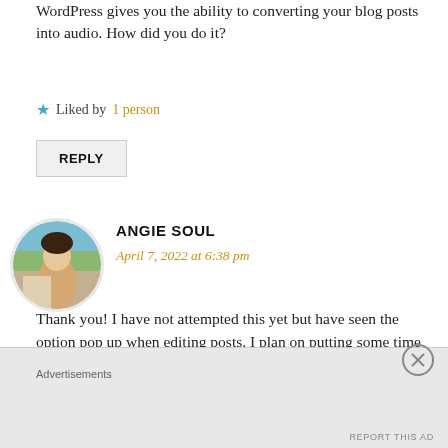WordPress gives you the ability to converting your blog posts into audio. How did you do it?
★ Liked by 1 person
REPLY
ANGIE SOUL
April 7, 2022 at 6:38 pm
Thank you! I have not attempted this yet but have seen the option pop up when editing posts. I plan on putting some time aside to give it a try. Once I do, I'll be sure to write a post on this as it seems multiple people are
Advertisements